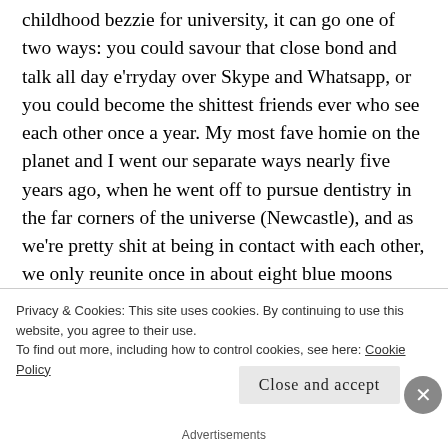childhood bezzie for university, it can go one of two ways: you could savour that close bond and talk all day e'rryday over Skype and Whatsapp, or you could become the shittest friends ever who see each other once a year. My most fave homie on the planet and I went our separate ways nearly five years ago, when he went off to pursue dentistry in the far corners of the universe (Newcastle), and as we're pretty shit at being in contact with each other, we only reunite once in about eight blue moons (love you Ash hun).
Privacy & Cookies: This site uses cookies. By continuing to use this website, you agree to their use.
To find out more, including how to control cookies, see here: Cookie Policy
Close and accept
Advertisements